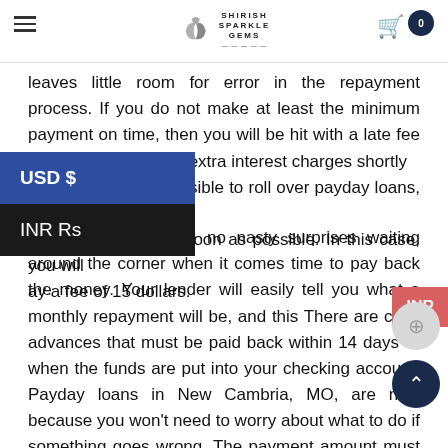SHIRISH SPARKLE GEMS — navigation header with hamburger menu, logo, and cart icon
leaves little room for error in the repayment process. If you do not make at least the minimum payment on time, then you will be hit with a late fee and potentially some extra interest charges shortly It is not possible to roll over payday loans, but you should our direct lender as soon as possible. In this case, you will ay a fee of 15 dollars.
ct lenders, there are no nasty surprises waiting around the corner when it comes time to pay back the money. Your lender will easily tell you what a monthly repayment will be, and this There are cash advances that must be paid back within 14 days or when the funds are put into your checking account. Payday loans in New Cambria, MO, are nice because you won't need to worry about what to do if something goes wrong. The payment amount must be approved before you are given any money, so there is no chance of ending up having to borrow more than you can handle. G payday loans in Missouri shouldn't be a daunting task, considering the number of options available to borrowers. However, lenders are different, and offers vary from one company to another.
Due to the competition among borrowers for lenders, lenders will off